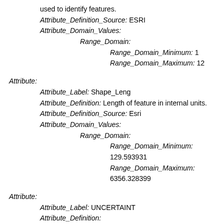used to identify features.
Attribute_Definition_Source: ESRI
Attribute_Domain_Values:
Range_Domain:
Range_Domain_Minimum: 1
Range_Domain_Maximum: 12
Attribute:
Attribute_Label: Shape_Leng
Attribute_Definition: Length of feature in internal units.
Attribute_Definition_Source: Esri
Attribute_Domain_Values:
Range_Domain:
Range_Domain_Minimum: 129.593931
Range_Domain_Maximum: 6356.328399
Attribute:
Attribute_Label: UNCERTAINT
Attribute_Definition:
A value representing the error associated with the imagery type that is used in the Digital Shoreline Analysis System (DSAS) statistical computations.